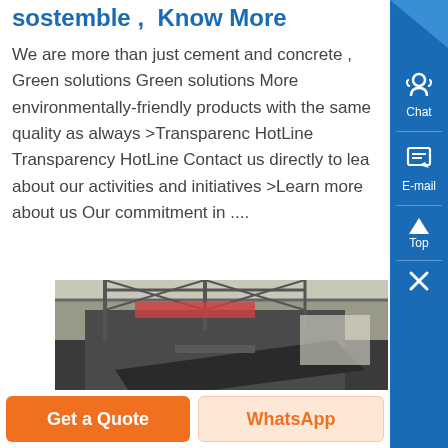sostemble , Know More
We are more than just cement and concrete , Green solutions Green solutions More environmentally-friendly products with the same quality as always >Transparency HotLine Transparency HotLine Contact us directly to lea about our activities and initiatives >Learn more about us Our commitment in ....
[Figure (photo): Industrial machinery or equipment inside a factory or warehouse, showing large dark machinery with metal structure and overhead trusses]
Get a Quote
WhatsApp